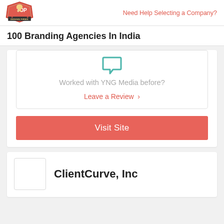Need Help Selecting a Company?
100 Branding Agencies In India
Worked with YNG Media before?
Leave a Review >
Visit Site
ClientCurve, Inc